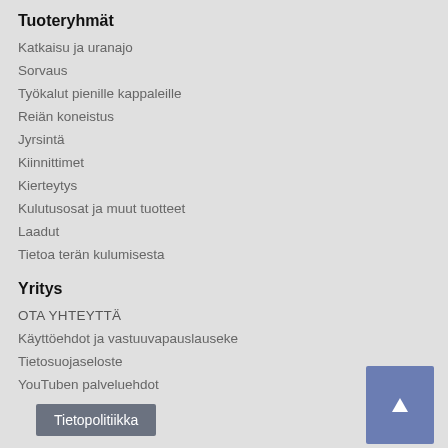Tuoteryhmät
Katkaisu ja uranajo
Sorvaus
Työkalut pienille kappaleille
Reiän koneistus
Jyrsintä
Kiinnittimet
Kierteytys
Kulutusosat ja muut tuotteet
Laadut
Tietoa terän kulumisesta
Yritys
OTA YHTEYTTÄ
Käyttöehdot ja vastuuvapauslauseke
Tietosuojaseloste
YouTuben palveluehdot
Tietopolitiikka
Uutiset ja julkaisut
Tuotejulkistukset
Luettelot
Esitteet